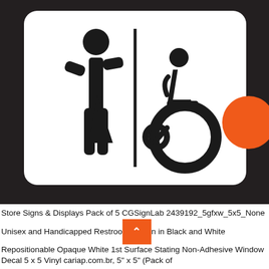[Figure (illustration): Product image showing a black square sign with a white rounded rectangle containing pictograms: a combined male/female figure on the left, a vertical dividing line in the center, and a wheelchair accessibility symbol on the right. An orange circle appears on the right side of the black background. This is a store restroom sign decal.]
Store Signs & Displays Pack of 5 CGSignLab 2439192_5gfxw_5x5_None Unisex and Handicapped Restroom in Black and White Repositionable Opaque White 1st Surface Static Non-Adhesive Window Decal 5 x 5 Vinyl cariap.com.br, 5" x 5" (Pack of